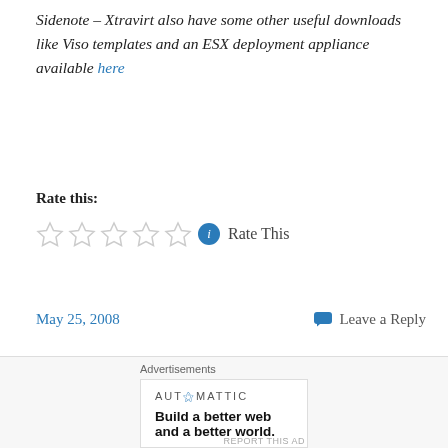Sidenote – Xtravirt also have some other useful downloads like Viso templates and an ESX deployment appliance available here
Rate this:
[Figure (other): Five empty star rating icons followed by a blue info circle and 'Rate This' text]
May 25, 2008
Leave a Reply
Running ESX 3.5 and 3i Under VMWare Workstation 6.5 Beta Build 91182
[Figure (other): Automattic advertisement: 'Build a better web and a better world.']